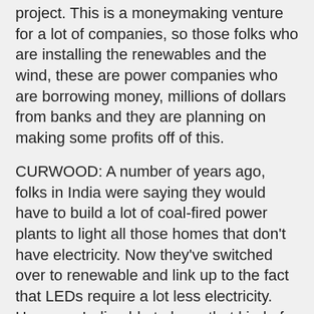project. This is a moneymaking venture for a lot of companies, so those folks who are installing the renewables and the wind, these are power companies who are borrowing money, millions of dollars from banks and they are planning on making some profits off of this.
CURWOOD: A number of years ago, folks in India were saying they would have to build a lot of coal-fired power plants to light all those homes that don't have electricity. Now they've switched over to renewable and link up to the fact that LEDs require a lot less electricity. How was India able to have that kind of integrated systems thinking, to move forward in this way?
LEAHY: Well, I think they've had strong leadership from their Prime Minister Modi that this is the future for India. They've also seen other benefits to renewable energy, for instance, right now India loses about 30 percent of all the